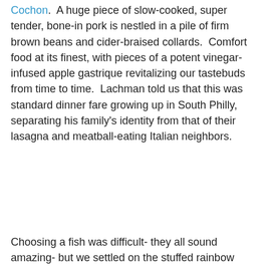Cochon. A huge piece of slow-cooked, super tender, bone-in pork is nestled in a pile of firm brown beans and cider-braised collards. Comfort food at its finest, with pieces of a potent vinegar-infused apple gastrique revitalizing our tastebuds from time to time. Lachman told us that this was standard dinner fare growing up in South Philly, separating his family's identity from that of their lasagna and meatball-eating Italian neighbors.
[Figure (photo): A white bowl plate containing slow-cooked bone-in pork nestled in brown beans and cider-braised collards with herbs on top, photographed from above on a restaurant table.]
Choosing a fish was difficult- they all sound amazing- but we settled on the stuffed rainbow trout ($25), complete with head and tail. The flaky white meat was easily accessible